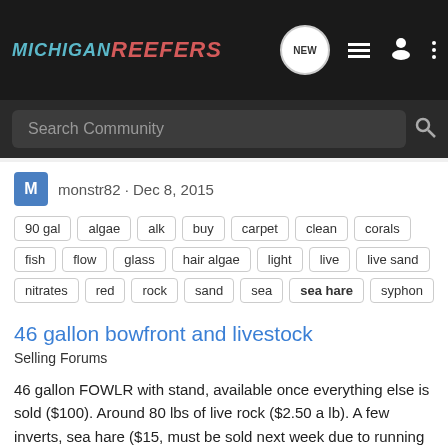MICHIGAN REEFERS
Search Community
monstr82 · Dec 8, 2015
90 gal   algae   alk   buy   carpet   clean   corals   fish   flow   glass   hair algae   light   live   live sand   nitrates   red   rock   sand   sea   sea hare   syphon   tank   water   water changes
46 gallon bowfront and livestock
Selling Forums
46 gallon FOWLR with stand, available once everything else is sold ($100). Around 80 lbs of live rock ($2.50 a lb). A few inverts, sea hare ($15, must be sold next week due to running out of algae in the tank, will take to LFS if I can't sell it) conch ($10) and hermit crabs (a couple zebra legs...
2   616